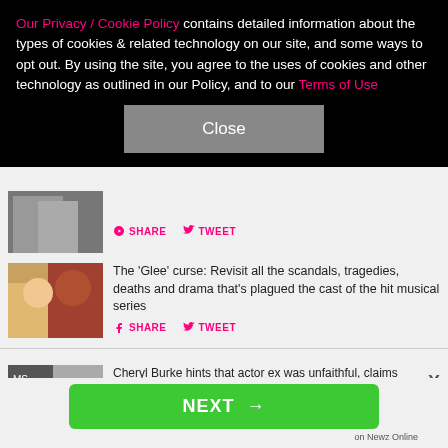Our Privacy / Cookie Policy contains detailed information about the types of cookies & related technology on our site, and some ways to opt out. By using the site, you agree to the uses of cookies and other technology as outlined in our Policy, and to our Terms of Use
Close
SHARE  TWEET
The 'Glee' curse: Revisit all the scandals, tragedies, deaths and drama that's plagued the cast of the hit musical series
SHARE  TWEET
Cheryl Burke hints that actor ex was unfaithful, claims she found texts and Viagra, plus more celebrity cheating scandals of 2022
NEXT →
on Newz Online